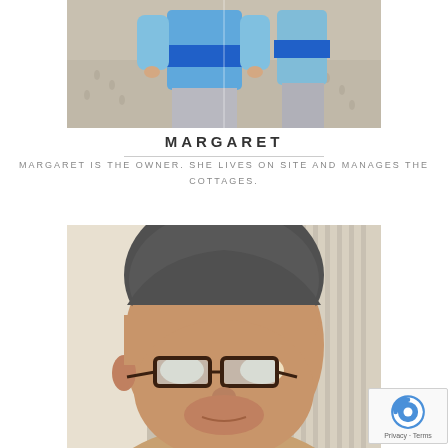[Figure (photo): Photo of Margaret at a beach, wearing a blue sweater with a blue stripe, standing on sandy ground. The image appears to be cropped showing the torso and lower body.]
MARGARET
MARGARET IS THE OWNER. SHE LIVES ON SITE AND MANAGES THE COTTAGES.
[Figure (photo): Close-up photo of a man with short salt-and-pepper hair wearing dark-framed glasses, looking slightly to the side. Window blinds or shutters visible in background.]